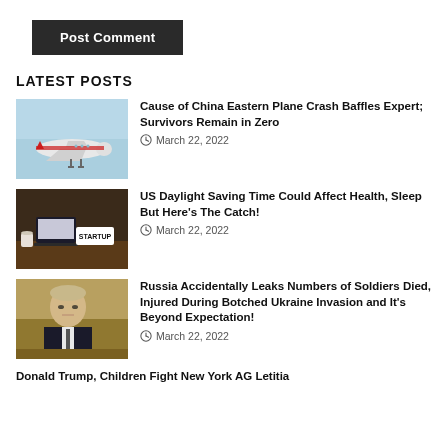Post Comment
LATEST POSTS
[Figure (photo): Airplane in flight, China Eastern livery, light blue sky background]
Cause of China Eastern Plane Crash Baffles Expert; Survivors Remain in Zero
March 22, 2022
[Figure (photo): Office desk with STARTUP sign, dark interior]
US Daylight Saving Time Could Affect Health, Sleep But Here's The Catch!
March 22, 2022
[Figure (photo): Vladimir Putin seated at table in dark suit]
Russia Accidentally Leaks Numbers of Soldiers Died, Injured During Botched Ukraine Invasion and It's Beyond Expectation!
March 22, 2022
Donald Trump, Children Fight New York AG Letitia